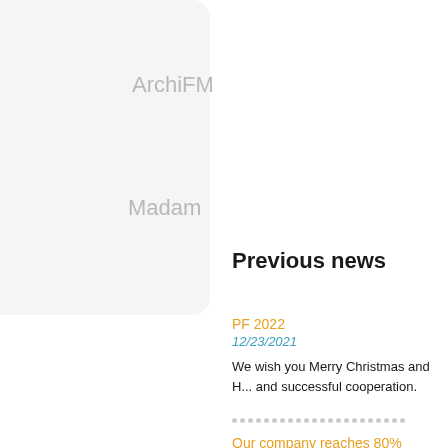ArchiFM
Madam
Previous news
PF 2022
12/23/2021
We wish you Merry Christmas and H... and successful cooperation.
Our company reaches 80% vaccinat...
12/17/2021
SÉRA, a.s. achieved 80% vaccinat...